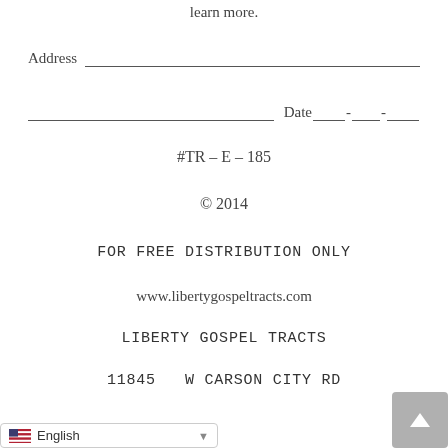learn more.
Address ___________________________
Date ___-___-___
#TR – E – 185
© 2014
FOR FREE DISTRIBUTION ONLY
www.libertygospeltracts.com
LIBERTY GOSPEL TRACTS
11845  W CARSON CITY RD
English